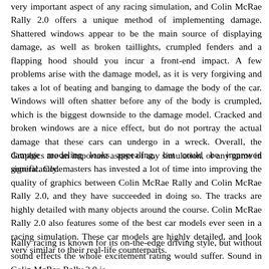very important aspect of any racing simulation, and Colin McRae Rally 2.0 offers a unique method of implementing damage. Shattered windows appear to be the main source of displaying damage, as well as broken taillights, crumpled fenders and a flapping hood should you incur a front-end impact. A few problems arise with the damage model, as it is very forgiving and takes a lot of beating and banging to damage the body of the car. Windows will often shatter before any of the body is crumpled, which is the biggest downside to the damage model. Cracked and broken windows are a nice effect, but do not portray the actual damage that these cars can undergo in a wreck. Overall, the damage modeling looks appealing, but could be improved significantly.
Graphics are an important aspect of any simulation, or any game in general. Codemasters has invested a lot of time into improving the quality of graphics between Colin McRae Rally and Colin McRae Rally 2.0, and they have succeeded in doing so. The tracks are highly detailed with many objects around the course. Colin McRae Rally 2.0 also features some of the best car models ever seen in a racing simulation. These car models are highly detailed, and look very similar to their real-life counterparts.
Rally racing is known for its on-the-edge driving style, but without sound effects the whole excitement rating would suffer. Sound in Colin McRae Rally 2.0 is...